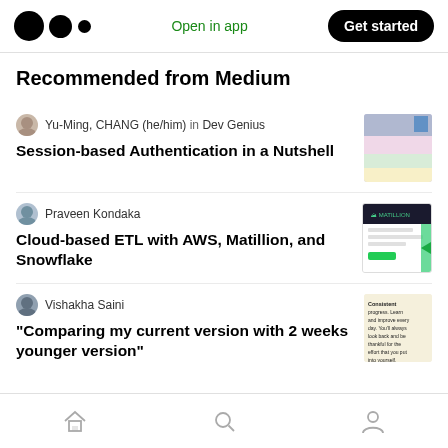Medium app header with logo, Open in app, Get started
Recommended from Medium
Yu-Ming, CHANG (he/him) in Dev Genius
Session-based Authentication in a Nutshell
[Figure (screenshot): Thumbnail for session-based authentication article]
Praveen Kondaka
Cloud-based ETL with AWS, Matillion, and Snowflake
[Figure (screenshot): Matillion logo thumbnail]
Vishakha Saini
"Comparing my current version with 2 weeks younger version"
[Figure (screenshot): Consistent progress motivational text thumbnail]
Bottom navigation: Home, Search, Profile